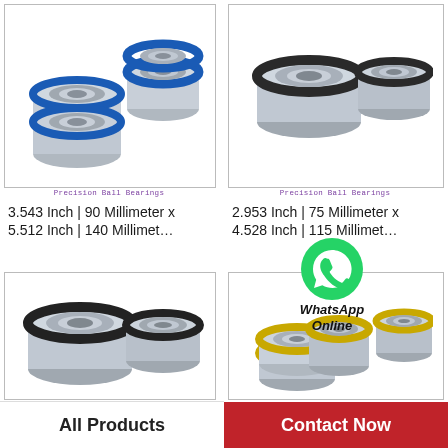[Figure (photo): Group of ball bearings with blue seals, precision ball bearings product photo]
Precision Ball Bearings
3.543 Inch | 90 Millimeter x 5.512 Inch | 140 Millimet…
[Figure (photo): Two ball bearings with black rubber seals, precision ball bearings product photo]
Precision Ball Bearings
2.953 Inch | 75 Millimeter x 4.528 Inch | 115 Millimet…
[Figure (photo): Two large ball bearings with black rubber seals, product photo]
[Figure (photo): Group of ball bearings with yellow/gold seals, product photo]
[Figure (logo): WhatsApp logo green circle with phone icon and text WhatsApp Online]
All Products
Contact Now